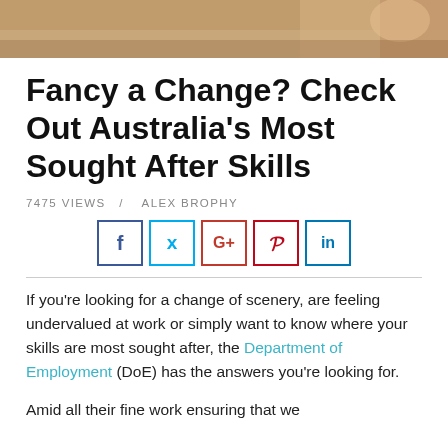[Figure (photo): Partial photo strip at the top of the page, showing a blurred warm-toned image (appears to be hands or fingers).]
Fancy a Change? Check Out Australia's Most Sought After Skills
7475 VIEWS  /  ALEX BROPHY
[Figure (infographic): Row of five social media share buttons: Facebook (f), Twitter (bird), Google+ (G+), Pinterest (P), LinkedIn (in), each in a colored border box.]
If you’re looking for a change of scenery, are feeling undervalued at work or simply want to know where your skills are most sought after, the Department of Employment (DoE) has the answers you’re looking for.
Amid all their fine work ensuring that we